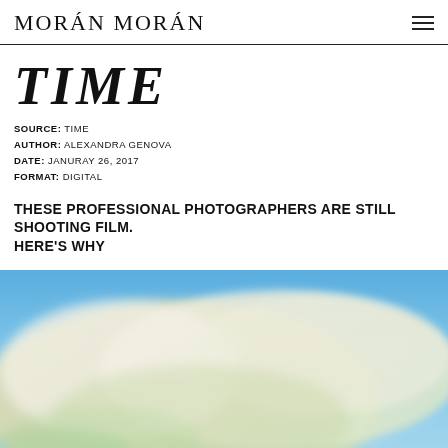MORÁN MORÁN
TIME
SOURCE: TIME
AUTHOR: ALEXANDRA GENOVA
DATE: JANURAY 26, 2017
FORMAT: DIGITAL
THESE PROFESSIONAL PHOTOGRAPHERS ARE STILL SHOOTING FILM. HERE'S WHY
[Figure (photo): Aerial or landscape photograph showing large billowing clouds of smoke or mist against a blue sky, with a dark ground or hillside visible at the bottom edge. Colors include blues, greens, yellows, and whites in a soft, slightly blurred style.]